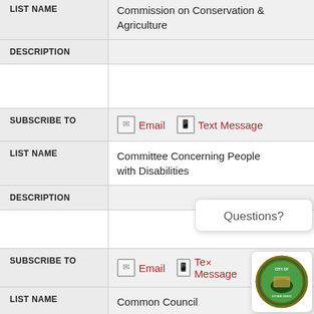| Field | Value |
| --- | --- |
| LIST NAME | Commission on Conservation & Agriculture |
| DESCRIPTION |  |
| SUBSCRIBE TO | Email | Text Message |
| LIST NAME | Committee Concerning People with Disabilities |
| DESCRIPTION |  |
| SUBSCRIBE TO | Email | Text Message |
| LIST NAME | Common Council |
| DESCRIPTION |  |
Questions?